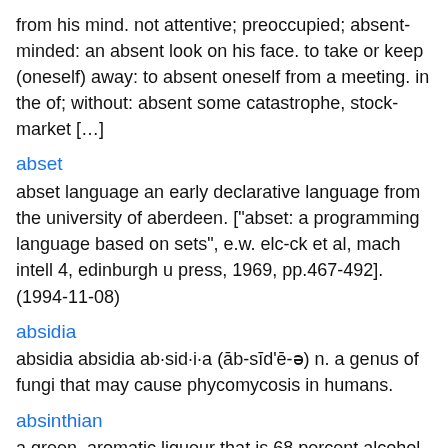from his mind. not attentive; preoccupied; absent-minded: an absent look on his face. to take or keep (oneself) away: to absent oneself from a meeting. in the of; without: absent some catastrophe, stock-market […]
abset
abset language an early declarative language from the university of aberdeen. ["abset: a programming language based on sets", e.w. elc-ck et al, mach intell 4, edinburgh u press, 1969, pp.467-492]. (1994-11-08)
absidia
absidia absidia ab·sid·i·a (āb-sīd'ē-ə) n. a genus of fungi that may cause phycomycosis in humans.
absinthian
a green, aromatic liqueur that is 68 percent alcohol, is made with and other herbs, and has a bitter, licorice flavor: now banned in most western countries. (def 2). noun a potent green alcoholic drink, technically a gin, originally having high wormwood content another name for wormwood (sense 1) n.